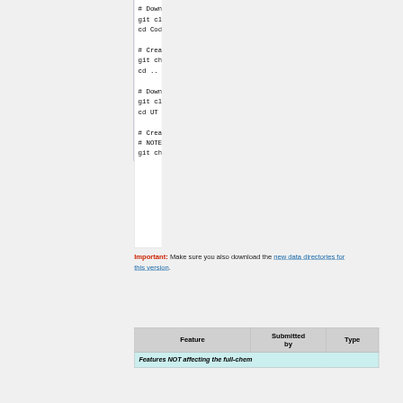[Figure (other): Code block showing git commands for downloading GEOS-Chem source and unit test repositories, including creating and checking out branches]
Important: Make sure you also download the new data directories for this version.
| Feature | Submitted by | Type |
| --- | --- | --- |
| Features NOT affecting the full-chem |  |  |